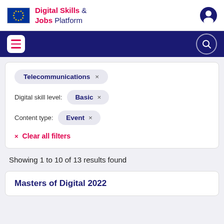Digital Skills & Jobs Platform
Telecommunications ×
Digital skill level: Basic ×
Content type: Event ×
× Clear all filters
Showing 1 to 10 of 13 results found
Masters of Digital 2022